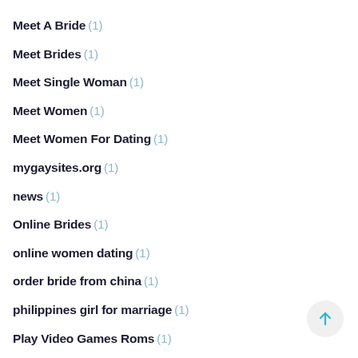Meet A Bride (1)
Meet Brides (1)
Meet Single Woman (1)
Meet Women (1)
Meet Women For Dating (1)
mygaysites.org (1)
news (1)
Online Brides (1)
online women dating (1)
order bride from china (1)
philippines girl for marriage (1)
Play Video Games Roms (1)
ranking bukmacherow (1)